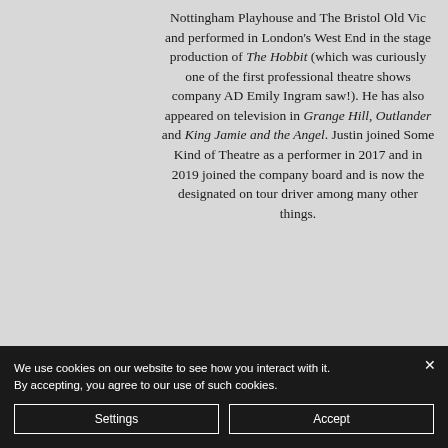Nottingham Playhouse and The Bristol Old Vic and performed in London's West End in the stage production of The Hobbit (which was curiously one of the first professional theatre shows company AD Emily Ingram saw!). He has also appeared on television in Grange Hill, Outlander and King Jamie and the Angel. Justin joined Some Kind of Theatre as a performer in 2017 and in 2019 joined the company board and is now the designated on tour driver among many other things.
We use cookies on our website to see how you interact with it. By accepting, you agree to our use of such cookies.